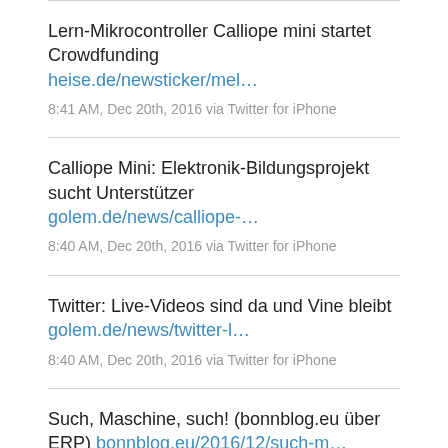Lern-Mikrocontroller Calliope mini startet Crowdfunding heise.de/newsticker/mel… 8:41 AM, Dec 20th, 2016 via Twitter for iPhone
Calliope Mini: Elektronik-Bildungsprojekt sucht Unterstützer golem.de/news/calliope-… 8:40 AM, Dec 20th, 2016 via Twitter for iPhone
Twitter: Live-Videos sind da und Vine bleibt golem.de/news/twitter-l… 8:40 AM, Dec 20th, 2016 via Twitter for iPhone
Such, Maschine, such! (bonnblog.eu über ERP) bonnblog.eu/2016/12/such-m… 8:34 AM, Dec 20th, 2016 via Twitter for iPhone